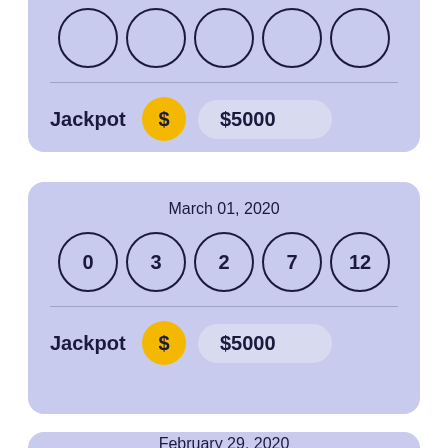[Figure (infographic): Top portion of a lottery ticket card with 5 partially visible lottery balls and a Jackpot row showing $5000]
[Figure (infographic): Lottery ticket card for March 01, 2020 with balls 0, 3, 2, 7, 12 and Jackpot of $5000]
[Figure (infographic): Bottom portion of a lottery ticket card showing date February 29, 2020, partially cut off]